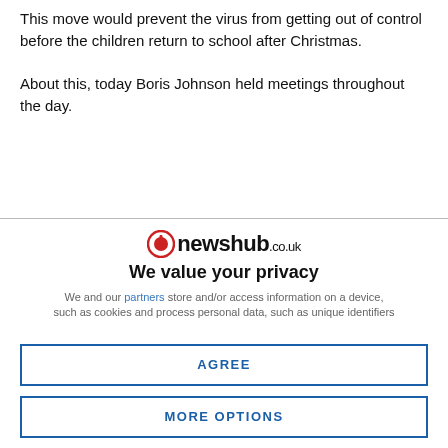This move would prevent the virus from getting out of control before the children return to school after Christmas.
About this, today Boris Johnson held meetings throughout the day.
[Figure (logo): newshub.co.uk logo with red circular icon]
We value your privacy
We and our partners store and/or access information on a device, such as cookies and process personal data, such as unique identifiers
AGREE
MORE OPTIONS